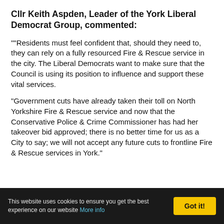Cllr Keith Aspden, Leader of the York Liberal Democrat Group, commented:
““Residents must feel confident that, should they need to, they can rely on a fully resourced Fire & Rescue service in the city. The Liberal Democrats want to make sure that the Council is using its position to influence and support these vital services.
“Government cuts have already taken their toll on North Yorkshire Fire & Rescue service and now that the Conservative Police & Crime Commissioner has had her takeover bid approved; there is no better time for us as a City to say; we will not accept any future cuts to frontline Fire & Rescue services in York.”
This website uses cookies to ensure you get the best experience on our website More info | Got it!